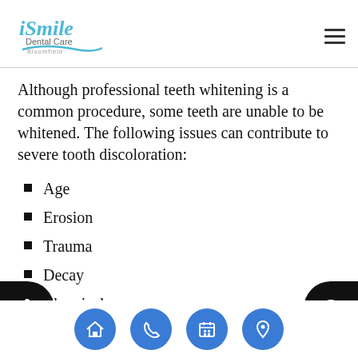iSmile Dental Care Bloomfield
Although professional teeth whitening is a common procedure, some teeth are unable to be whitened. The following issues can contribute to severe tooth discoloration:
Age
Erosion
Trauma
Decay
Chemical exposure
eth impacted by these factors may be too stained o
Navigation icons: home, phone, calendar, location